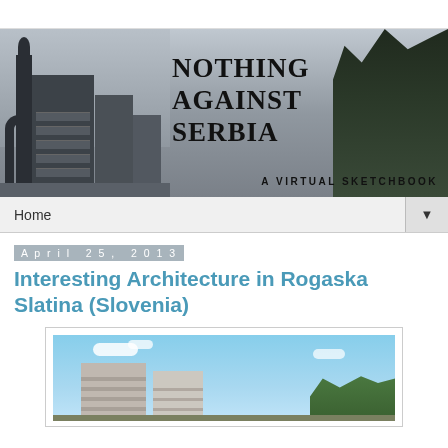[Figure (photo): Blog header banner: black and white photo of city skyline with tower and brutalist buildings on the left, trees on the right. Overlaid text reads 'NOTHING AGAINST SERBIA' in large serif bold font, and 'A VIRTUAL SKETCHBOOK' in small caps at bottom right.]
Home ▼
April 25, 2013
Interesting Architecture in Rogaska Slatina (Slovenia)
[Figure (photo): Color photograph showing modern multi-story buildings (hotel/spa complex) in Rogaska Slatina, Slovenia, with blue sky and trees in background.]